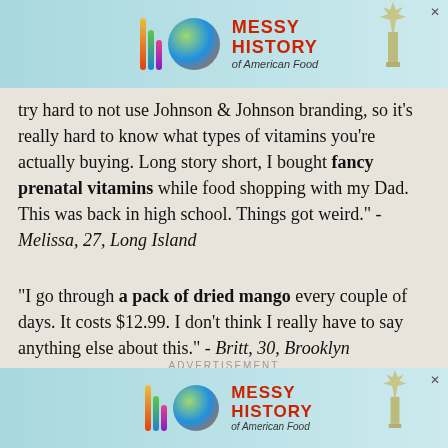[Figure (other): Advertisement banner for 'Messy History of American Food' with colorful logo stripes, a sphere graphic, and Statue of Liberty image on teal background]
try hard to not use Johnson & Johnson branding, so it's really hard to know what types of vitamins you're actually buying. Long story short, I bought fancy prenatal vitamins while food shopping with my Dad. This was back in high school. Things got weird." - Melissa, 27, Long Island
"I go through a pack of dried mango every couple of days. It costs $12.99. I don't think I really have to say anything else about this." - Britt, 30, Brooklyn
ADVERTISEMENT
[Figure (other): Advertisement banner for 'Messy History of American Food' with colorful logo stripes, a sphere graphic, and Statue of Liberty image on teal background]